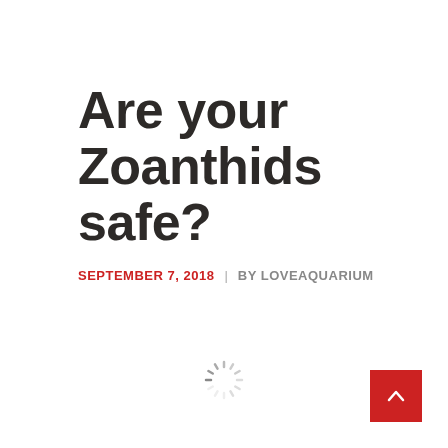Are your Zoanthids safe?
SEPTEMBER 7, 2018  |  BY LOVEAQUARIUM
[Figure (other): Loading spinner icon (circular dashes)]
[Figure (other): Red scroll-to-top button with upward chevron arrow]